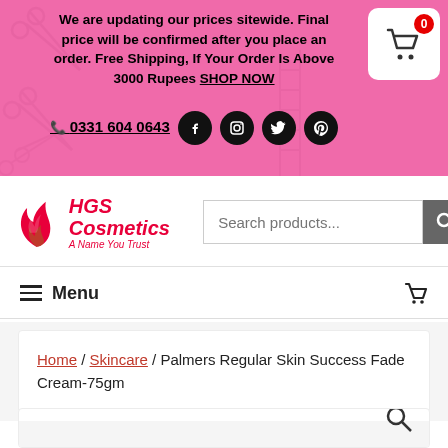We are updating our prices sitewide. Final price will be confirmed after you place an order. Free Shipping, If Your Order Is Above 3000 Rupees SHOP NOW
📞 0331 604 0643
[Figure (logo): HGS Cosmetics logo — flame icon with brand name and tagline 'A Name You Trust']
Search products...
≡ Menu
Home / Skincare / Palmers Regular Skin Success Fade Cream-75gm
[Figure (photo): Product image area for Palmers Regular Skin Success Fade Cream-75gm with search magnifier icon overlay]